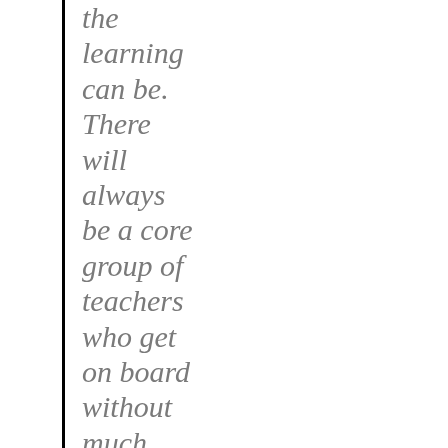the learning can be. There will always be a core group of teachers who get on board without much fuss and these people are what